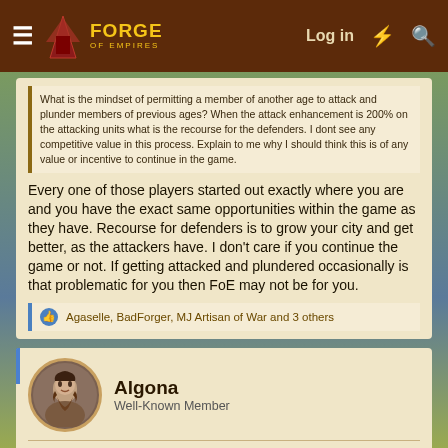Forge of Empires | Log in
What is the mindset of permitting a member of another age to attack and plunder members of previous ages? When the attack enhancement is 200% on the attacking units what is the recourse for the defenders. I dont see any competitive value in this process. Explain to me why I should think this is of any value or incentive to continue in the game.
Every one of those players started out exactly where you are and you have the exact same opportunities within the game as they have. Recourse for defenders is to grow your city and get better, as the attackers have. I don't care if you continue the game or not. If getting attacked and plundered occasionally is that problematic for you then FoE may not be for you.
Agaselle, BadForger, MJ Artisan of War and 3 others
Algona
Well-Known Member
Aug 18, 2021
#5